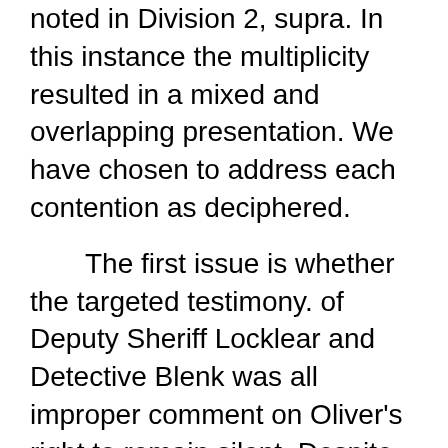noted in Division 2, supra. In this instance the multiplicity resulted in a mixed and overlapping presentation. We have chosen to address each contention as deciphered.
The first issue is whether the targeted testimony. of Deputy Sheriff Locklear and Detective Blenk was all improper comment on Oliver's right to remain silent. Despite her several references to the transcript, no objection was made on this basis at trial. The references are to objections that testimony was leading or improper rebuttal or given by a witness not qualified as an expert or not relevant. None of these even remotely raise the issue now